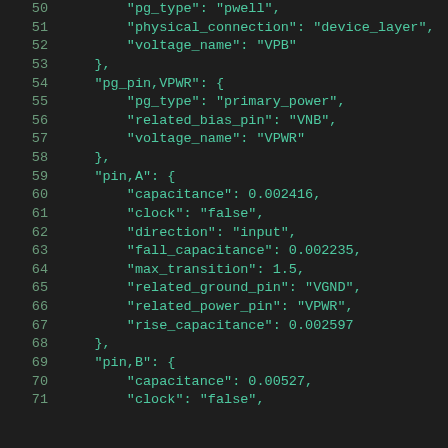Code listing lines 50-71 showing JSON-format library cell pin definitions including pg_pin,VPWR and pin,A and pin,B properties